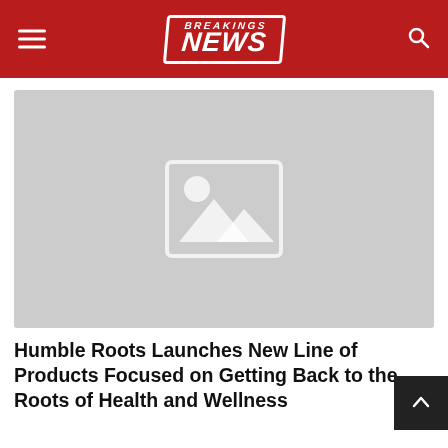BREAKINGS NEWS
[Figure (photo): Placeholder image with landscape/mountain icon on grey background]
Humble Roots Launches New Line of Products Focused on Getting Back to the Roots of Health and Wellness